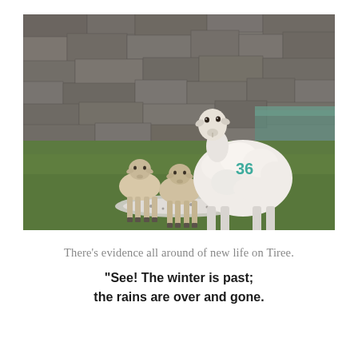[Figure (photo): A ewe (adult sheep) with the number 36 spray-painted in teal on its side stands on a grassy hillside near a rocky sea wall and calm water. Two young lambs stand beside her facing forward. The background shows a rugged stone dyke and a glimpse of turquoise-green water.]
There’s evidence all around of new life on Tiree.
“See! The winter is past; the rains are over and gone.